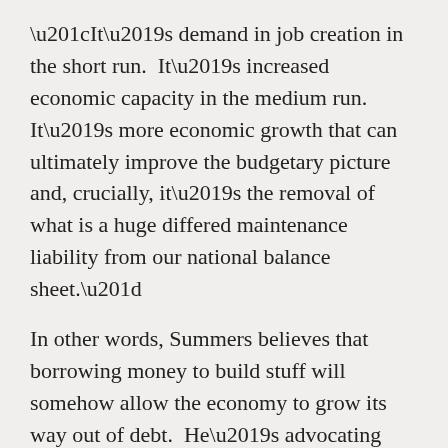“It’s demand in job creation in the short run.  It’s increased economic capacity in the medium run.  It’s more economic growth that can ultimately improve the budgetary picture and, crucially, it’s the removal of what is a huge differed maintenance liability from our national balance sheet.”
In other words, Summers believes that borrowing money to build stuff will somehow allow the economy to grow its way out of debt.  He’s advocating going deeper into debt to reduce the debt.
Naturally, this is the sort of crackpot scheme politician’s love.  It gives them unconditional cover to spend money that doesn’t exist.
In this respect, when the economy slips into freefall early next year, prepare yourself mentally for Wor… [continues]